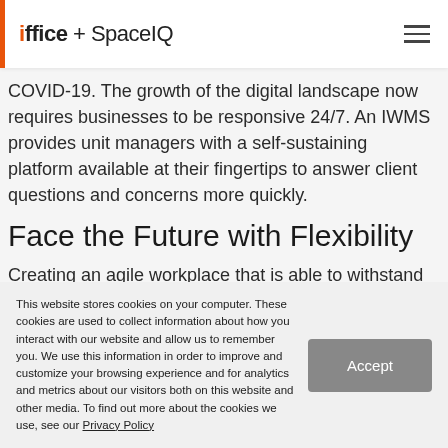ioffice + SpaceIQ
COVID-19. The growth of the digital landscape now requires businesses to be responsive 24/7. An IWMS provides unit managers with a self-sustaining platform available at their fingertips to answer client questions and concerns more quickly.
Face the Future with Flexibility
Creating an agile workplace that is able to withstand change and sustain positive business-employee relationships, as well as business-client connections, is
This website stores cookies on your computer. These cookies are used to collect information about how you interact with our website and allow us to remember you. We use this information in order to improve and customize your browsing experience and for analytics and metrics about our visitors both on this website and other media. To find out more about the cookies we use, see our Privacy Policy